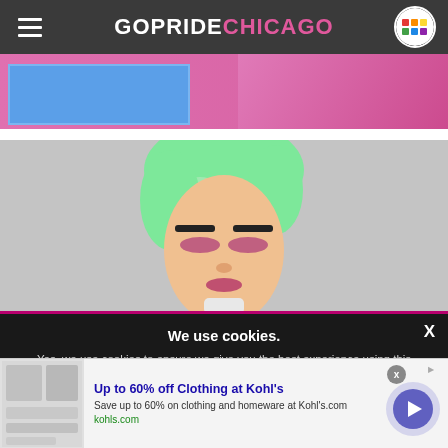GOPRIDE CHICAGO
[Figure (photo): Partial photo showing a blue rectangle overlay and pink fabric/clothing in background]
[Figure (photo): Person with green hair styled upward and dramatic makeup against a gray background]
We use cookies.
Yes, we use cookies to ensure we give you the best experience using this website.
By closing this box or clicking on the continue button, you agree to our terms of use and consent to the use of
[Figure (screenshot): Advertisement banner: Up to 60% off Clothing at Kohl's. Save up to 60% on clothing and homeware at Kohl's.com. kohls.com]